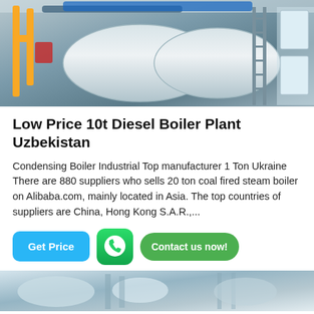[Figure (photo): Industrial diesel boiler plant photo showing large cylindrical boiler tanks with yellow gas pipes, blue frame, and metal scaffolding inside a factory building]
Low Price 10t Diesel Boiler Plant Uzbekistan
Condensing Boiler Industrial Top manufacturer 1 Ton Ukraine There are 880 suppliers who sells 20 ton coal fired steam boiler on Alibaba.com, mainly located in Asia. The top countries of suppliers are China, Hong Kong S.A.R.,...
[Figure (logo): WhatsApp icon green rounded square logo]
Get Price
Contact us now!
[Figure (photo): Second industrial boiler plant photo showing boiler equipment inside a factory, light blue/grey tones]